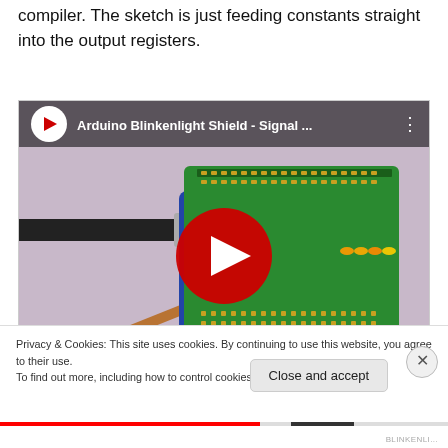compiler. The sketch is just feeding constants straight into the output registers.
[Figure (screenshot): YouTube video thumbnail showing an Arduino Blinkenlight Shield with title 'Arduino Blinkenlight Shield - Signal ...' and a red play button in the center. The thumbnail shows a green Arduino shield PCB with LEDs connected via USB cable on a light purple background.]
Privacy & Cookies: This site uses cookies. By continuing to use this website, you agree to their use.
To find out more, including how to control cookies, see here: Cookie Policy
Close and accept